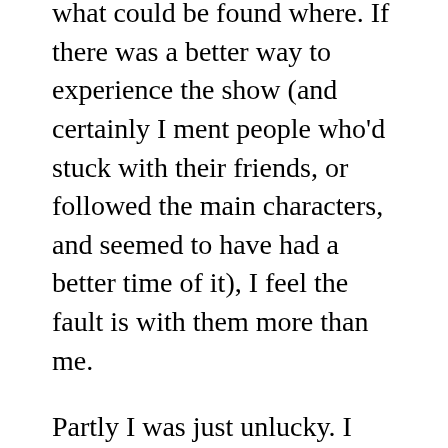what could be found where. If there was a better way to experience the show (and certainly I ment people who'd stuck with their friends, or followed the main characters, and seemed to have had a better time of it), I feel the fault is with them more than me.
Partly I was just unlucky. I didn't find the bar until the very end, and had some difficulty finding toilets (partly my fault, but partly due to poor directions from staff), which in turn meant I missed most of the finale. But I doubt said finale would have changed my judgement overmuch, because I wasn't waiting for a resolution - indeed I'd barely put together any coherent narrative or even characterization. I followed one character after another, magpie-like, and saw vignettes, individual isolated snippets. But even when I followed the same character for